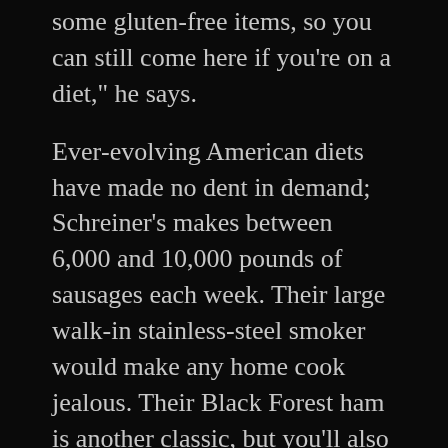some gluten-free items, so you can still come here if you're on a diet," he says.
Ever-evolving American diets have made no dent in demand; Schreiner's makes between 6,000 and 10,000 pounds of sausages each week. Their large walk-in stainless-steel smoker would make any home cook jealous. Their Black Forest ham is another classic, but you'll also find ribeye, steaks and other cuts of meat, German mustards, German beers and wines, sauerkraut and classic European potato dishes like rösti and spätzle. Wally has expanded the business into wholesale products and catering, not to mention sausages for the local Oktoberfest.